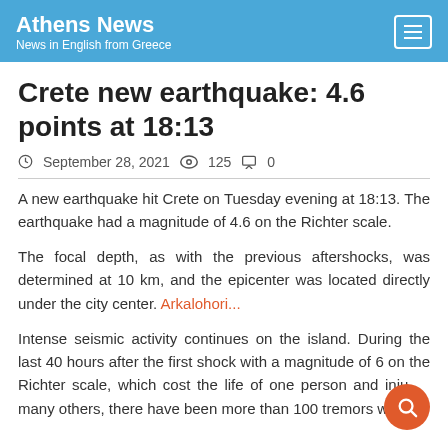Athens News — News in English from Greece
Crete new earthquake: 4.6 points at 18:13
September 28, 2021  125  0
A new earthquake hit Crete on Tuesday evening at 18:13. The earthquake had a magnitude of 4.6 on the Richter scale.
The focal depth, as with the previous aftershocks, was determined at 10 km, and the epicenter was located directly under the city center. Arkalohori...
Intense seismic activity continues on the island. During the last 40 hours after the first shock with a magnitude of 6 on the Richter scale, which cost the life of one person and injur many others, there have been more than 100 tremors wi...